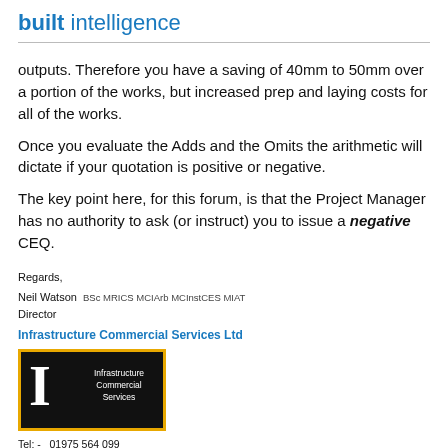built intelligence
outputs. Therefore you have a saving of 40mm to 50mm over a portion of the works, but increased prep and laying costs for all of the works.
Once you evaluate the Adds and the Omits the arithmetic will dictate if your quotation is positive or negative.
The key point here, for this forum, is that the Project Manager has no authority to ask (or instruct) you to issue a negative CEQ.
Regards,
Neil Watson  BSc MRICS MCIArb MCInstCES MIAT
Director
Infrastructure Commercial Services Ltd
[Figure (logo): Infrastructure Commercial Services logo — black background with yellow border, large white serif letter I on left, text 'Infrastructure Commercial Services' on right in white sans-serif]
Tel: -   01975 564 099
Mob: -  07401 411 614